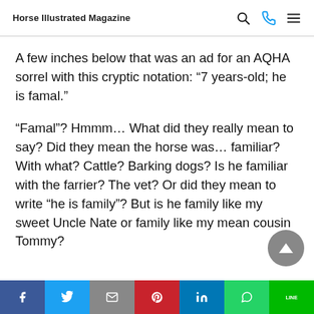Horse Illustrated Magazine
A few inches below that was an ad for an AQHA sorrel with this cryptic notation: “7 years-old; he is famal.”
“Famal”? Hmmm… What did they really mean to say? Did they mean the horse was… familiar? With what? Cattle? Barking dogs? Is he familiar with the farrier? The vet? Or did they mean to write “he is family”? But is he family like my sweet Uncle Nate or family like my mean cousin Tommy?
Share bar: Facebook, Twitter, Email, Pinterest, LinkedIn, WhatsApp, LINE